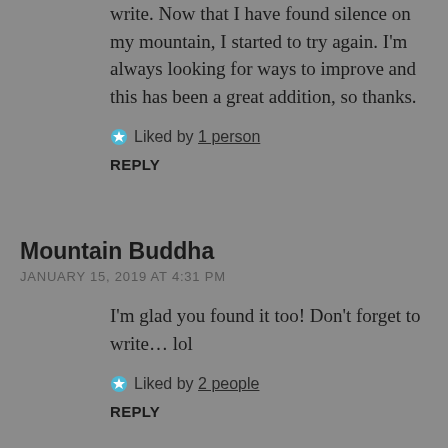write. Now that I have found silence on my mountain, I started to try again. I'm always looking for ways to improve and this has been a great addition, so thanks.
Liked by 1 person
REPLY
Mountain Buddha
JANUARY 15, 2019 AT 4:31 PM
I'm glad you found it too! Don't forget to write… lol
Liked by 2 people
REPLY